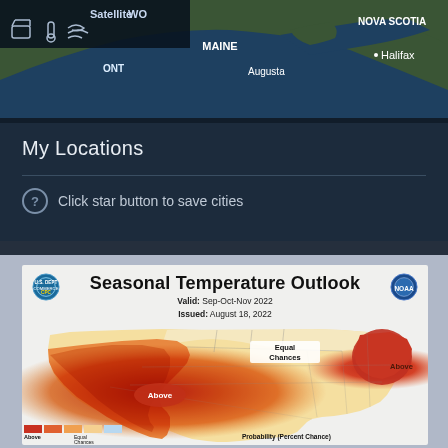[Figure (map): Satellite weather map showing northeastern United States and Canada including Maine, Nova Scotia, and Halifax. Map toolbar visible with satellite label and weather icons.]
My Locations
Click star button to save cities
[Figure (map): Seasonal Temperature Outlook map for the contiguous United States. Valid: Sep-Oct-Nov 2022, Issued: August 18, 2022. Shows above-normal temperature probabilities concentrated in western/central US and northeastern US, with Equal Chances region in northern plains. Legend shows Above, Equal Chances categories with Probability (Percent Chance) label.]